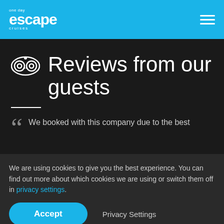one day escape cruises
Reviews from our guests
We booked with this company due to the best
We are using cookies to give you the best experience. You can find out more about which cookies we are using or switch them off in privacy settings.
Accept
Privacy Settings